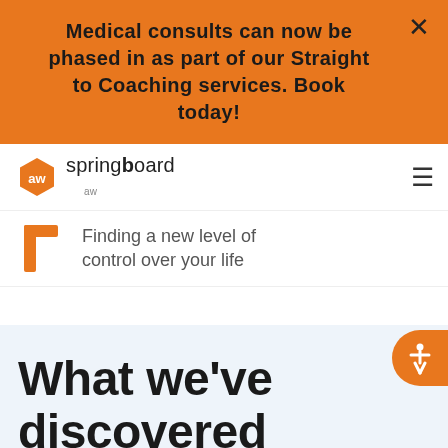Medical consults can now be phased in as part of our Straight to Coaching services. Book today!
[Figure (logo): Springboard logo with orange hexagon icon and text 'springboard']
Finding a new level of control over your life
What we've discovered about treating ADHD